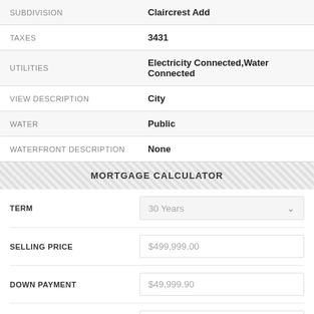| Field | Value |
| --- | --- |
| SUBDIVISION | Claircrest Add |
| TAXES | 3431 |
| UTILITIES | Electricity Connected,Water Connected |
| VIEW DESCRIPTION | City |
| WATER | Public |
| WATERFRONT DESCRIPTION | None |
MORTGAGE CALCULATOR
| Field | Value |
| --- | --- |
| TERM | 30 Years |
| SELLING PRICE | $499,999.00 |
| DOWN PAYMENT | $49,999.90 |
| INTEREST RATE | 3.00 % |
| INSURANCE RATE | 0.4 |